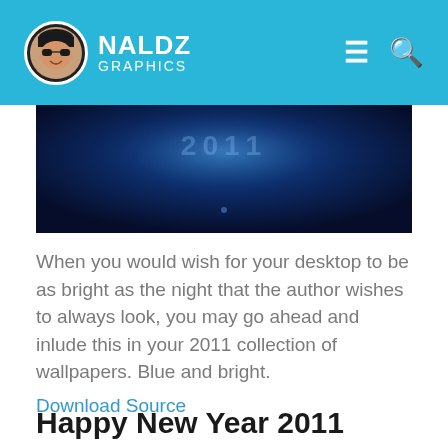NALDZ GRAPHICS
[Figure (screenshot): A dark blue gradient wallpaper image with subtle glowing light in the center, partially visible at the top portion of the content area.]
When you would wish for your desktop to be as bright as the night that the author wishes to always look, you may go ahead and inlude this in your 2011 collection of wallpapers. Blue and bright.
Download Source
Happy New Year 2011